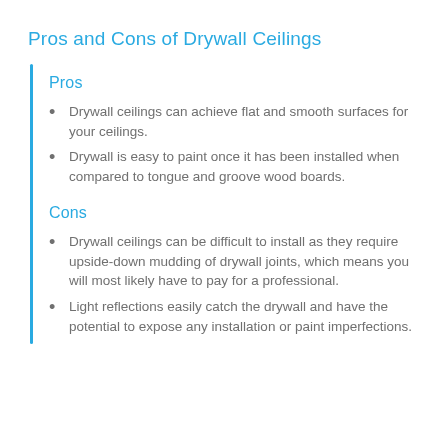Pros and Cons of Drywall Ceilings
Pros
Drywall ceilings can achieve flat and smooth surfaces for your ceilings.
Drywall is easy to paint once it has been installed when compared to tongue and groove wood boards.
Cons
Drywall ceilings can be difficult to install as they require upside-down mudding of drywall joints, which means you will most likely have to pay for a professional.
Light reflections easily catch the drywall and have the potential to expose any installation or paint imperfections.